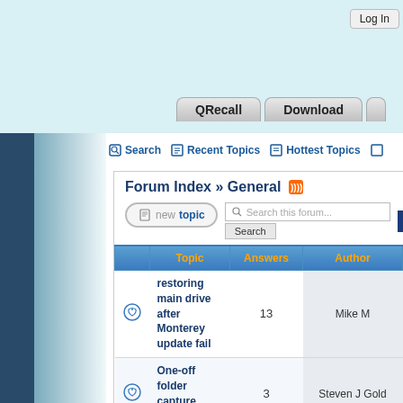Log In
QRecall   Download
Search   Recent Topics   Hottest Topics
Forum Index » General
new topic   Search this forum...   Search   1  2  3
| Topic | Answers | Author |
| --- | --- | --- |
| restoring main drive after Monterey update fail | 13 | Mike M |
| One-off folder capture retention? | 3 | Steven J Gold |
| Can I or should I combine disk files in archive? | 3 | Mark Gerber |